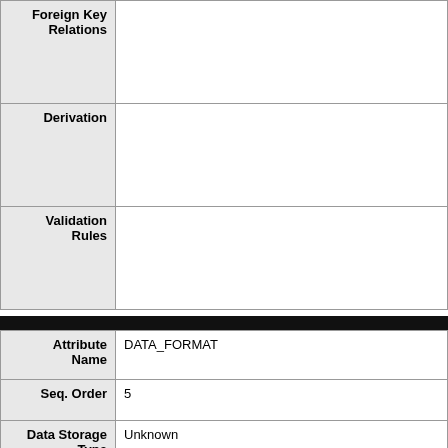| Field | Value |
| --- | --- |
| Foreign Key Relations |  |
| Derivation |  |
| Validation Rules |  |
| Field | Value |
| --- | --- |
| Attribute Name | DATA_FORMAT |
| Seq. Order | 5 |
| Data Storage Type | Unknown |
| Max Length |  |
| Min Length |  |